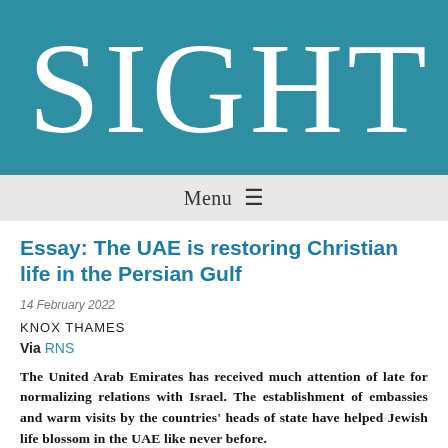SIGHT
Menu ≡
Essay: The UAE is restoring Christian life in the Persian Gulf
14 February 2022
KNOX THAMES
Via RNS
The United Arab Emirates has received much attention of late for normalizing relations with Israel. The establishment of embassies and warm visits by the countries' heads of state have helped Jewish life blossom in the UAE like never before.
Last year, construction began in Abu Dhabi on the first official